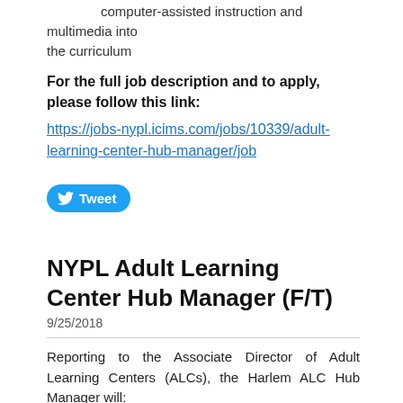computer-assisted instruction and multimedia into the curriculum
For the full job description and to apply, please follow this link:
https://jobs-nypl.icims.com/jobs/10339/adult-learning-center-hub-manager/job
[Figure (other): Tweet button with Twitter bird icon]
NYPL Adult Learning Center Hub Manager (F/T)
9/25/2018
Reporting to the Associate Director of Adult Learning Centers (ALCs), the Harlem ALC Hub Manager will:
Provide leadership at a hub that includes supervision and the professional development needed to ensure existing and new staff have the skills to deliver instruction according to the curriculum.